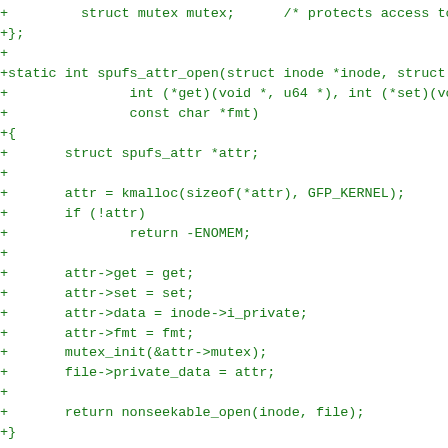+         struct mutex mutex;      /* protects access to these b
+};
+
+static int spufs_attr_open(struct inode *inode, struct file
+               int (*get)(void *, u64 *), int (*set)(void *,
+               const char *fmt)
+{
+       struct spufs_attr *attr;
+
+       attr = kmalloc(sizeof(*attr), GFP_KERNEL);
+       if (!attr)
+               return -ENOMEM;
+
+       attr->get = get;
+       attr->set = set;
+       attr->data = inode->i_private;
+       attr->fmt = fmt;
+       mutex_init(&attr->mutex);
+       file->private_data = attr;
+
+       return nonseekable_open(inode, file);
+}
+
+static int spufs_attr_release(struct inode *inode, struct fi
+{
+       kfree(file->private_data);